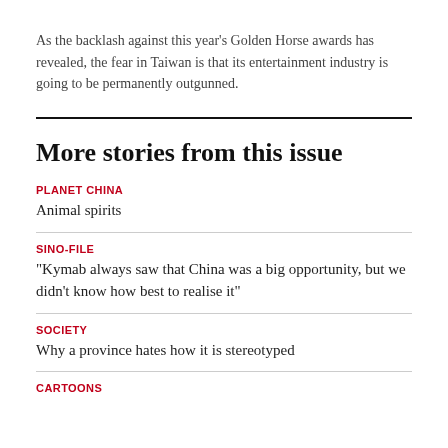As the backlash against this year's Golden Horse awards has revealed, the fear in Taiwan is that its entertainment industry is going to be permanently outgunned.
More stories from this issue
PLANET CHINA
Animal spirits
SINO-FILE
“Kymab always saw that China was a big opportunity, but we didn’t know how best to realise it”
SOCIETY
Why a province hates how it is stereotyped
CARTOONS